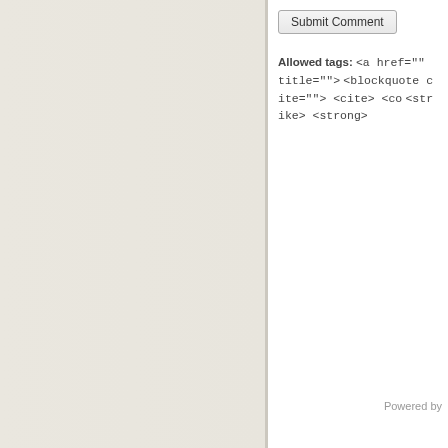Submit Comment
Allowed tags: <a href="" title=""> <blockquote cite=""> <cite> <code> <strike> <strong>